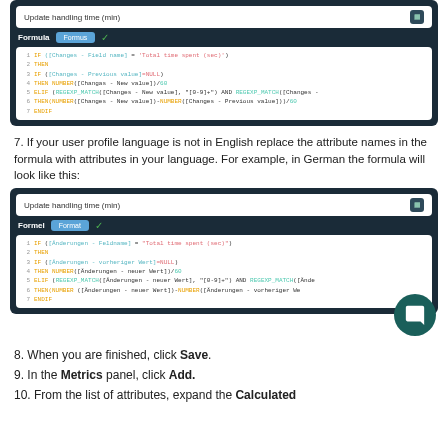[Figure (screenshot): Dark-themed formula editor showing English formula with IF/THEN/ELIF/ENDIF code for Update handling time (min)]
7. If your user profile language is not in English replace the attribute names in the formula with attributes in your language. For example, in German the formula will look like this:
[Figure (screenshot): Dark-themed formula editor showing German formula with Änderungen fields for Update handling time (min)]
8. When you are finished, click Save.
9. In the Metrics panel, click Add.
10. From the list of attributes, expand the Calculated